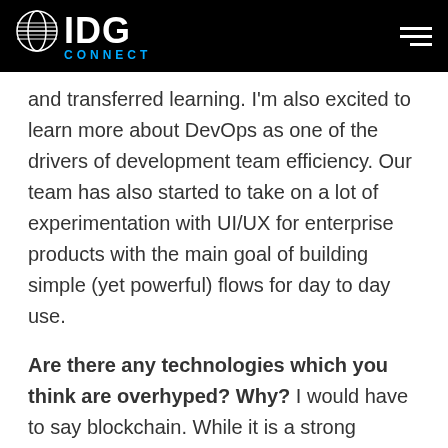IDG CONNECT
and transferred learning. I'm also excited to learn more about DevOps as one of the drivers of development team efficiency. Our team has also started to take on a lot of experimentation with UI/UX for enterprise products with the main goal of building simple (yet powerful) flows for day to day use.
Are there any technologies which you think are overhyped? Why? I would have to say blockchain. While it is a strong technology with great relevance in the real world (like crypto currency or document system of records), I see many cases when it is used solely for the sake of name recognition or to attract